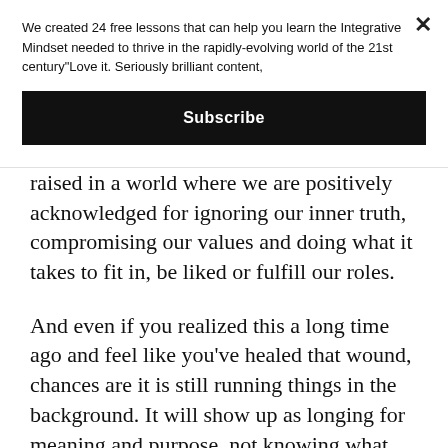We created 24 free lessons that can help you learn the Integrative Mindset needed to thrive in the rapidly-evolving world of the 21st century"Love it. Seriously brilliant content,
Subscribe
raised in a world where we are positively acknowledged for ignoring our inner truth, compromising our values and doing what it takes to fit in, be liked or fulfill our roles.
And even if you realized this a long time ago and feel like you've healed that wound, chances are it is still running things in the background. It will show up as longing for meaning and purpose, not knowing what you really want, lack of clarity about next steps, and not having the courage to